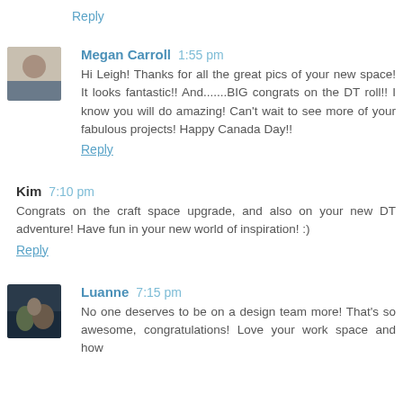Reply
Megan Carroll 1:55 pm
Hi Leigh! Thanks for all the great pics of your new space! It looks fantastic!! And.......BIG congrats on the DT roll!! I know you will do amazing! Can't wait to see more of your fabulous projects! Happy Canada Day!!
Reply
Kim 7:10 pm
Congrats on the craft space upgrade, and also on your new DT adventure! Have fun in your new world of inspiration! :)
Reply
Luanne 7:15 pm
No one deserves to be on a design team more! That's so awesome, congratulations! Love your work space and how